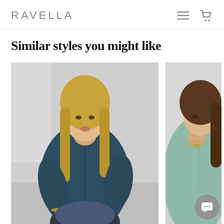RAVELLA
Similar styles you might like
[Figure (photo): Blonde woman wearing a dark teal/navy silk button-down shirt, sitting casually, photographed against a light grey/white background]
[Figure (photo): Woman wearing a mint/sage green silk button-down shirt, partial view of face and torso, light background, wearing a necklace]